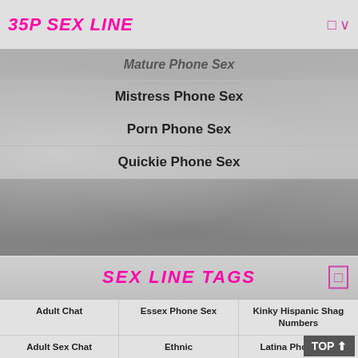35P SEX LINE
Mature Phone Sex
Mistress Phone Sex
Porn Phone Sex
Quickie Phone Sex
SEX LINE TAGS
Adult Chat
Essex Phone Sex
Kinky Hispanic Shag Numbers
Adult Sex Chat
Ethnic
Latina Phone Sex
Anal Phone Sex
Fetish
Live Chat
Black Girls Phone Sex
Filthy Essex Phone Sex Bitches
Live Sex Chat
Bored Housewives Phone Sex Chat
Geeky Teen Phone Sex
Mature
Chat Online
Geeky Teen Phone Sex Babes
Mature Phone Sex
Cheap Adult Chat
Granny Phone Sex
Mistress Phone Sex
Cheap Chat
Granny Phone Sex Chat
Nasty Essex Slags On Our 35p Sex Line
Cheap Phone Sex
Hardcore
Phone Sex
Cheap Phone Sex Chat
Hardcore Fucking On
Phone Sex Chat